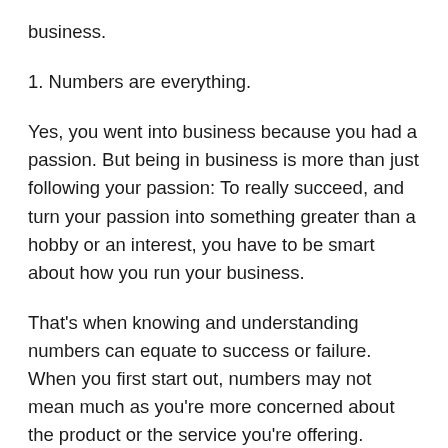business.
1. Numbers are everything.
Yes, you went into business because you had a passion. But being in business is more than just following your passion: To really succeed, and turn your passion into something greater than a hobby or an interest, you have to be smart about how you run your business.
That's when knowing and understanding numbers can equate to success or failure. When you first start out, numbers may not mean much as you're more concerned about the product or the service you're offering. However, numbers are the key to keeping